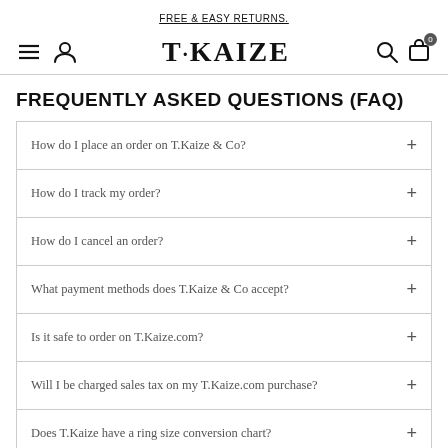FREE & EASY RETURNS.
[Figure (logo): T·KAIZE brand logo with navigation icons (hamburger menu, user icon, search icon, cart icon with badge 0)]
FREQUENTLY ASKED QUESTIONS (FAQ)
How do I place an order on T.Kaize & Co?
How do I track my order?
How do I cancel an order?
What payment methods does T.Kaize & Co accept?
Is it safe to order on T.Kaize.com?
Will I be charged sales tax on my T.Kaize.com purchase?
Does T.Kaize have a ring size conversion chart?